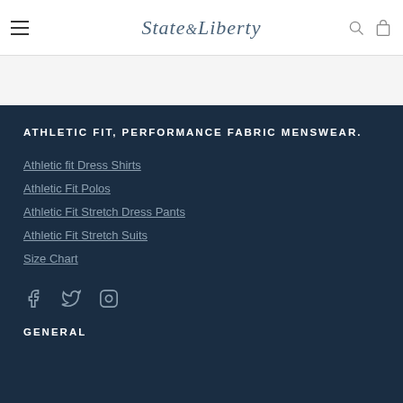State & Liberty
ATHLETIC FIT, PERFORMANCE FABRIC MENSWEAR.
Athletic fit Dress Shirts
Athletic Fit Polos
Athletic Fit Stretch Dress Pants
Athletic Fit Stretch Suits
Size Chart
[Figure (other): Social media icons: Facebook, Twitter, Instagram]
GENERAL